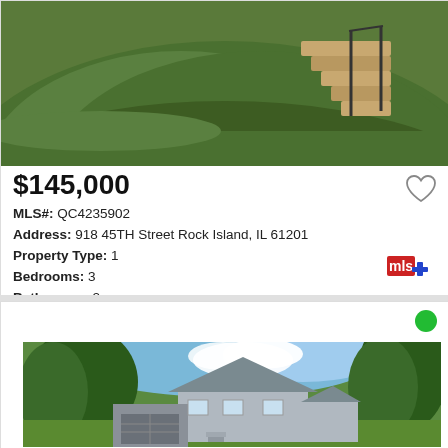[Figure (photo): Exterior photo of a property showing green grass mound and stone steps with metal railing, watermarked HM]
$145,000
MLS#: QC4235902
Address: 918 45TH Street Rock Island, IL 61201
Property Type: 1
Bedrooms: 3
Bathrooms: 2
Status: Pending
[Figure (logo): MLS logo — red and blue cross/plus symbol]
[Figure (photo): Exterior photo of a residential house surrounded by large trees with blue sky, showing garage and main structure]